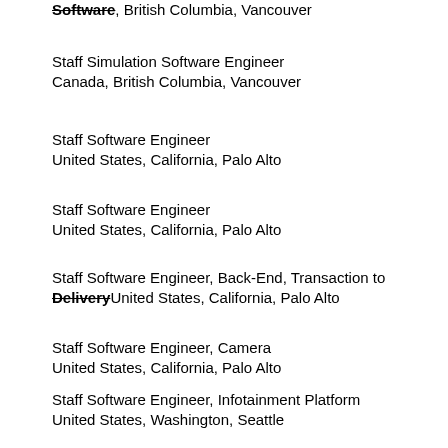Software, British Columbia, Vancouver
Staff Simulation Software Engineer
Canada, British Columbia, Vancouver
Staff Software Engineer
United States, California, Palo Alto
Staff Software Engineer
United States, California, Palo Alto
Staff Software Engineer, Back-End, Transaction to Delivery
United States, California, Palo Alto
Staff Software Engineer, Camera
United States, California, Palo Alto
Staff Software Engineer, Infotainment Platform
United States, Washington, Seattle
Staff Software Engineer, Mapping
United States, New York, New York City
Staff Software Engineer, Vehicle Mapping